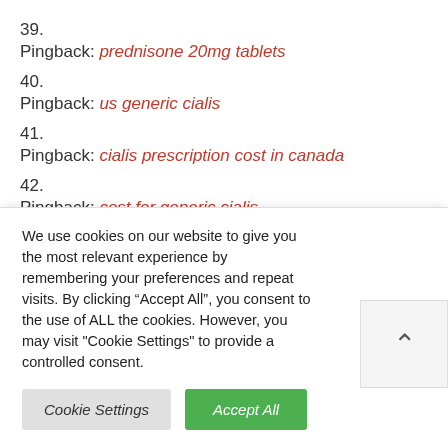39.
Pingback: prednisone 20mg tablets
40.
Pingback: us generic cialis
41.
Pingback: cialis prescription cost in canada
42.
Pingback: cost for generic cialis
43.
Pingback: cialis dosis
We use cookies on our website to give you the most relevant experience by remembering your preferences and repeat visits. By clicking “Accept All”, you consent to the use of ALL the cookies. However, you may visit "Cookie Settings" to provide a controlled consent.